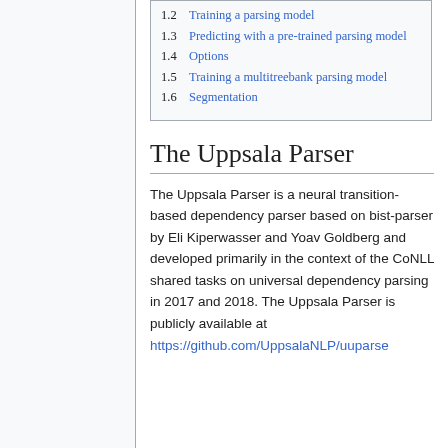1.2 Training a parsing model
1.3 Predicting with a pre-trained parsing model
1.4 Options
1.5 Training a multitreebank parsing model
1.6 Segmentation
The Uppsala Parser
The Uppsala Parser is a neural transition-based dependency parser based on bist-parser by Eli Kiperwasser and Yoav Goldberg and developed primarily in the context of the CoNLL shared tasks on universal dependency parsing in 2017 and 2018. The Uppsala Parser is publicly available at https://github.com/UppsalaNLP/uuparse